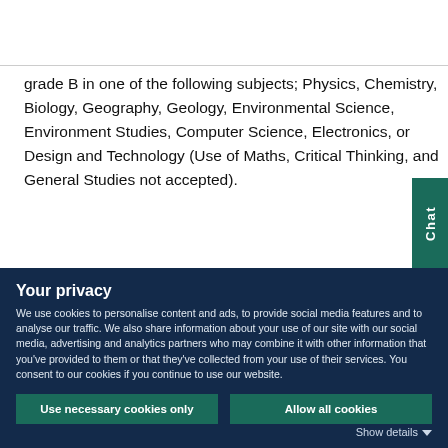Entry requirements
grade B in one of the following subjects; Physics, Chemistry, Biology, Geography, Geology, Environmental Science, Environment Studies, Computer Science, Electronics, or Design and Technology (Use of Maths, Critical Thinking, and General Studies not accepted).
Your privacy
We use cookies to personalise content and ads, to provide social media features and to analyse our traffic. We also share information about your use of our site with our social media, advertising and analytics partners who may combine it with other information that you've provided to them or that they've collected from your use of their services. You consent to our cookies if you continue to use our website.
Use necessary cookies only
Allow all cookies
Show details